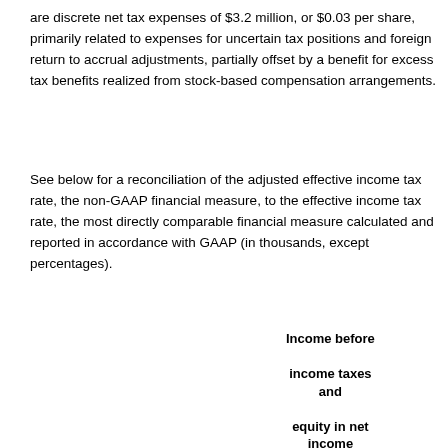are discrete net tax expenses of $3.2 million, or $0.03 per share, primarily related to expenses for uncertain tax positions and foreign return to accrual adjustments, partially offset by a benefit for excess tax benefits realized from stock-based compensation arrangements.
See below for a reconciliation of the adjusted effective income tax rate, the non-GAAP financial measure, to the effective income tax rate, the most directly comparable financial measure calculated and reported in accordance with GAAP (in thousands, except percentages).
| Income before income taxes and equity in net income of unconsolidated investments | Inco ex |
| --- | --- |